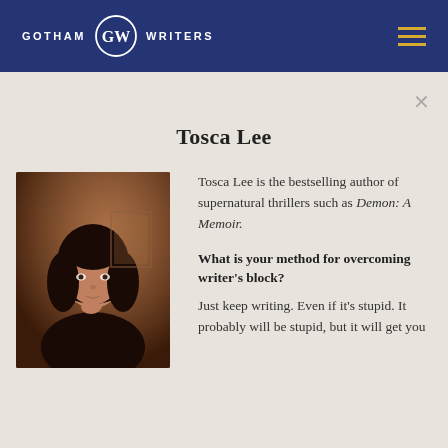GOTHAM WRITERS
Tosca Lee
[Figure (photo): Portrait photograph of Tosca Lee, a woman with long dark hair resting her chin on her hand, with a warm brownish background suggesting an indoor setting.]
Tosca Lee is the bestselling author of supernatural thrillers such as Demon: A Memoir.
What is your method for overcoming writer's block?
Just keep writing. Even if it's stupid. It probably will be stupid, but it will get you